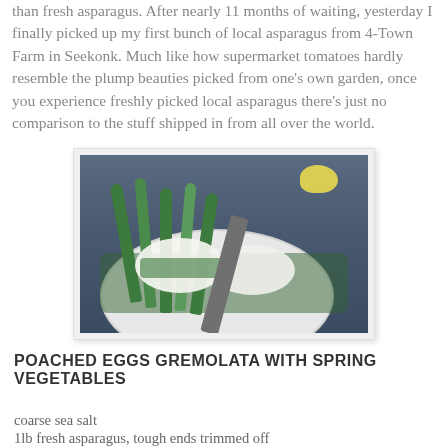than fresh asparagus. After nearly 11 months of waiting, yesterday I finally picked up my first bunch of local asparagus from 4-Town Farm in Seekonk. Much like how supermarket tomatoes hardly resemble the plump beauties picked from one's own garden, once you experience freshly picked local asparagus there's just no comparison to the stuff shipped in from all over the world.
[Figure (photo): A white plate with steamed green asparagus stalks, poached eggs topped with gremolata (chopped herbs), a lemon wedge, and a fork, photographed on a blue-gray background.]
POACHED EGGS GREMOLATA WITH SPRING VEGETABLES
coarse sea salt
1lb fresh asparagus, tough ends trimmed off